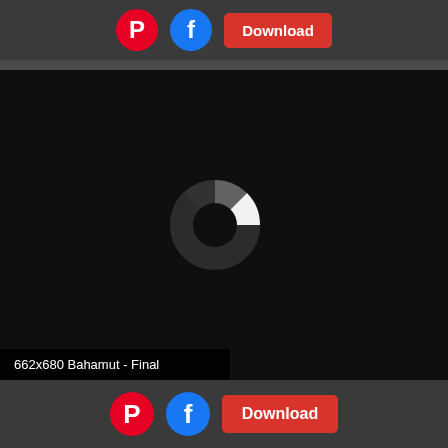[Figure (screenshot): Top bar with Pinterest icon, Facebook icon, and a red Download button on a dark grey background]
[Figure (photo): Dark nearly black image with a circular loading spinner graphic in the center. The spinner has segments, with the top-right segment glowing bright white. Below the image in the bottom-left corner is a label that reads '662x680 Bahamut - Final']
662x680 Bahamut - Final
[Figure (screenshot): Bottom bar with Pinterest icon, Facebook icon, and a red Download button on a dark grey background]